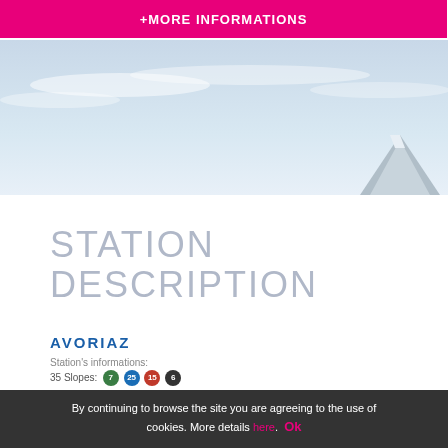+MORE INFORMATIONS
[Figure (photo): Mountain landscape with snowy peaks and light blue sky]
STATION DESCRIPTION
AVORIAZ
Station's informations:
35 Slopes: 7  25  15  6
By continuing to browse the site you are agreeing to the use of cookies. More details here. Ok